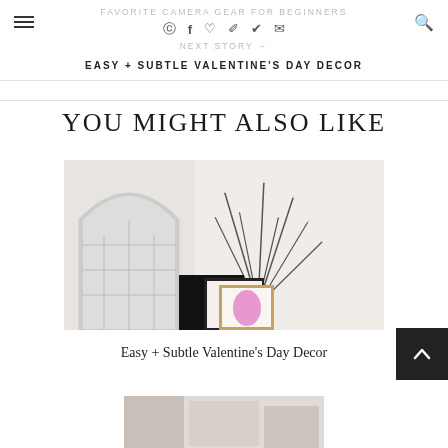FAVORITE CAMERA GEAR FOR BEGINNERS
NEXT STORY →
EASY + SUBTLE VALENTINE'S DAY DECOR
YOU MIGHT ALSO LIKE
[Figure (photo): Room decor photo showing a white arched window-pane mirror, branches with small white flowers in a glass vase, and framed artwork on a surface]
Easy + Subtle Valentine's Day Decor
[Figure (photo): Partially visible photo at bottom of page]